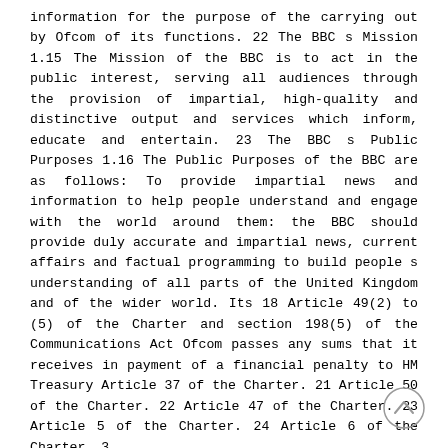information for the purpose of the carrying out by Ofcom of its functions. 22 The BBC s Mission 1.15 The Mission of the BBC is to act in the public interest, serving all audiences through the provision of impartial, high-quality and distinctive output and services which inform, educate and entertain. 23 The BBC s Public Purposes 1.16 The Public Purposes of the BBC are as follows: To provide impartial news and information to help people understand and engage with the world around them: the BBC should provide duly accurate and impartial news, current affairs and factual programming to build people s understanding of all parts of the United Kingdom and of the wider world. Its 18 Article 49(2) to (5) of the Charter and section 198(5) of the Communications Act Ofcom passes any sums that it receives in payment of a financial penalty to HM Treasury Article 37 of the Charter. 21 Article 50 of the Charter. 22 Article 47 of the Charter. 23 Article 5 of the Charter. 24 Article 6 of the Charter. 3
[Figure (other): A circular back-to-top scroll button with an upward-pointing chevron arrow, located at the bottom-right corner of the page.]